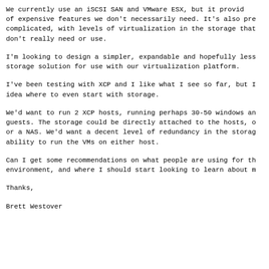We currently use an iSCSI SAN and VMware ESX, but it provides a lot of expensive features we don't necessarily need. It's also pretty complicated, with levels of virtualization in the storage that we don't really need or use.
I'm looking to design a simpler, expandable and hopefully less expensive storage solution for use with our virtualization platform.
I've been testing with XCP and I like what I see so far, but I have no idea where to even start with storage.
We'd want to run 2 XCP hosts, running perhaps 30-50 windows and linux guests. The storage could be directly attached to the hosts, or a SAN or a NAS. We'd want a decent level of redundancy in the storage, and the ability to run the VMs on either host.
Can I get some recommendations on what people are using for this type of environment, and where I should start looking to learn about my options?
Thanks,
Brett Westover